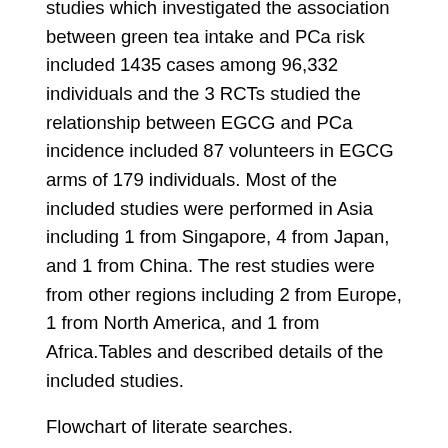studies which investigated the association between green tea intake and PCa risk included 1435 cases among 96,332 individuals and the 3 RCTs studied the relationship between EGCG and PCa incidence included 87 volunteers in EGCG arms of 179 individuals. Most of the included studies were performed in Asia including 1 from Singapore, 4 from Japan, and 1 from China. The rest studies were from other regions including 2 from Europe, 1 from North America, and 1 from Africa.Tables and described details of the included studies.
Flowchart of literate searches.
Is Wine Good For Prostate
A new study shows men who drink four or more glasses of red wine per week have a nearly 50% lower risk of prostate cancer than non-drinkers. In addition, researchers found that